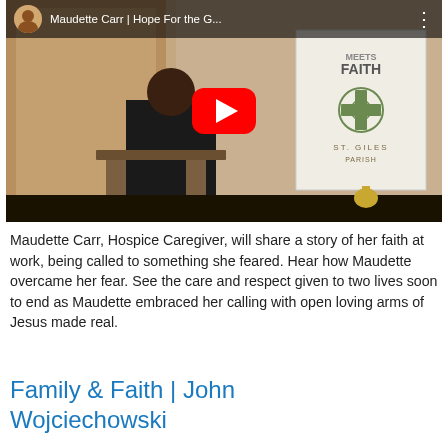[Figure (screenshot): YouTube video thumbnail showing a person at a podium in a church setting with a St. Giles Parish 'Faith Meets Faith' banner visible. A red YouTube play button is overlaid in the center. The video bar at the top shows the title 'Maudette Carr | Hope For the G...' with a speaker avatar and three-dot menu.]
Maudette Carr, Hospice Caregiver, will share a story of her faith at work, being called to something she feared. Hear how Maudette overcame her fear. See the care and respect given to two lives soon to end as Maudette embraced her calling with open loving arms of Jesus made real.
Family & Faith | John Wojciechowski